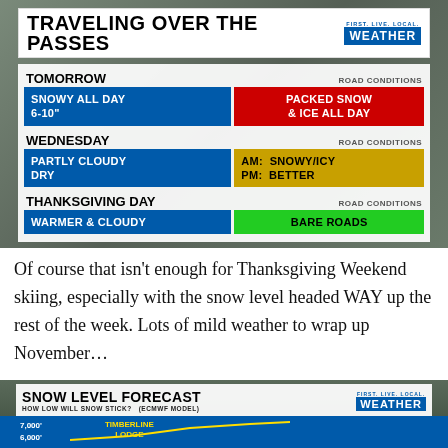[Figure (infographic): Weather forecast graphic: TRAVELING OVER THE PASSES with FIRST. LIVE. LOCAL. WEATHER logo. Shows three days: TOMORROW (SNOWY ALL DAY 6-10" / PACKED SNOW & ICE ALL DAY), WEDNESDAY (PARTLY CLOUDY DRY / AM: SNOWY/ICY PM: BETTER), THANKSGIVING DAY (WARMER & CLOUDY / BARE ROADS)]
Of course that isn't enough for Thanksgiving Weekend skiing, especially with the snow level headed WAY up the rest of the week. Lots of mild weather to wrap up November…
[Figure (infographic): Snow Level Forecast graphic: HOW LOW WILL SNOW STICK? (ECMWF MODEL) with FIRST. LIVE. LOCAL. WEATHER logo. Shows elevations 7,000' and 6,000' with TIMBERLINE LODGE label. Blue background with yellow forecast line.]